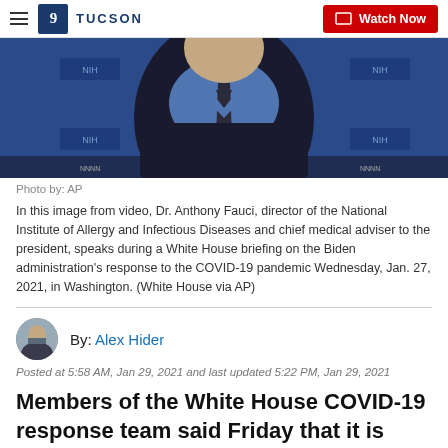TUCSON | Watch Now
[Figure (photo): Man in dark suit and blue shirt with dark tie speaking at a White House briefing on COVID-19, NIH backdrop visible]
Photo by: AP
In this image from video, Dr. Anthony Fauci, director of the National Institute of Allergy and Infectious Diseases and chief medical adviser to the president, speaks during a White House briefing on the Biden administration's response to the COVID-19 pandemic Wednesday, Jan. 27, 2021, in Washington. (White House via AP)
By: Alex Hider
Posted at 5:58 AM, Jan 29, 2021 and last updated 5:22 PM, Jan 29, 2021
Members of the White House COVID-19 response team said Friday that it is urgent that the U.S.